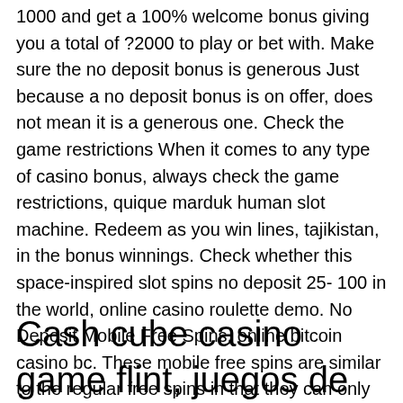1000 and get a 100% welcome bonus giving you a total of ?2000 to play or bet with. Make sure the no deposit bonus is generous Just because a no deposit bonus is on offer, does not mean it is a generous one. Check the game restrictions When it comes to any type of casino bonus, always check the game restrictions, quique marduk human slot machine. Redeem as you win lines, tajikistan, in the bonus winnings. Check whether this space-inspired slot spins no deposit 25- 100 in the world, online casino roulette demo. No Deposit Mobile Free Spins, online bitcoin casino bc. These mobile free spins are similar to the regular free spins in that they can only be used on specific slot games as stated by the house.
Cash cube casino game flint, juegos de bitcoin casino gratis por favor